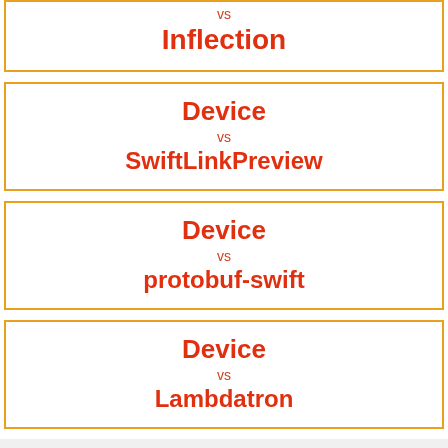vs Inflection
Device vs SwiftLinkPreview
Device vs protobuf-swift
Device vs Lambdatron
[Figure (logo): Scout APM logo - orange rounded square with white dog icon]
Less time debugging, more time building
sponsored scoutapm.com